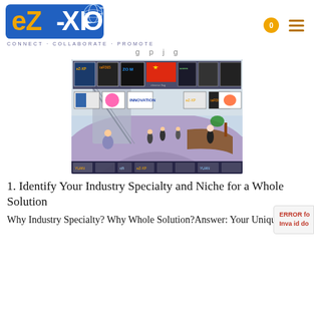eZ-XPO CONNECT · COLLABORATE · PROMOTE
g p j g
[Figure (screenshot): Virtual expo hall with company logos/banners on screens, a Chinese flag displayed prominently, escalators, virtual attendee avatars, and a reception desk in a 3D rendered environment]
1. Identify Your Industry Specialty and Niche for a Whole Solution
Why Industry Specialty? Why Whole Solution?Answer: Your Unique